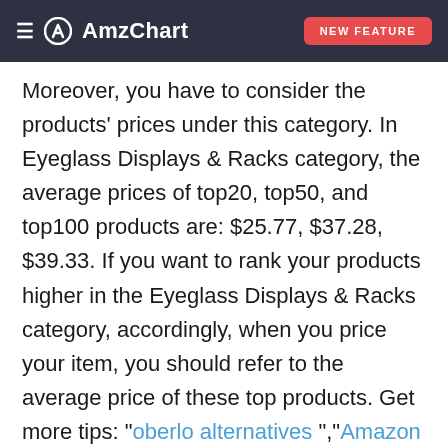AmzChart | NEW FEATURE
Moreover, you have to consider the products' prices under this category. In Eyeglass Displays & Racks category, the average prices of top20, top50, and top100 products are: $25.77, $37.28, $39.33. If you want to rank your products higher in the Eyeglass Displays & Racks category, accordingly, when you price your item, you should refer to the average price of these top products. Get more tips: "oberlo alternatives ","Amazon BSR tracker ".
What's more, category activity is another